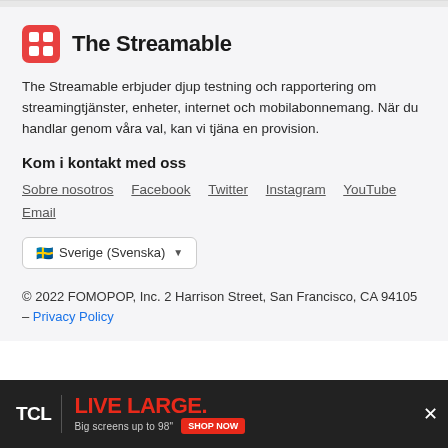[Figure (logo): The Streamable logo: red rounded square icon with grid pattern and text 'The Streamable']
The Streamable erbjuder djup testning och rapportering om streamingtjänster, enheter, internet och mobilabonnemang. När du handlar genom våra val, kan vi tjäna en provision.
Kom i kontakt med oss
Sobre nosotros  Facebook  Twitter  Instagram  YouTube  Email
Sverige (Svenska)
© 2022 FOMOPOP, Inc. 2 Harrison Street, San Francisco, CA 94105 – Privacy Policy
[Figure (other): TCL advertisement banner: 'TCL | LIVE LARGE. Big screens up to 98" SHOP NOW']